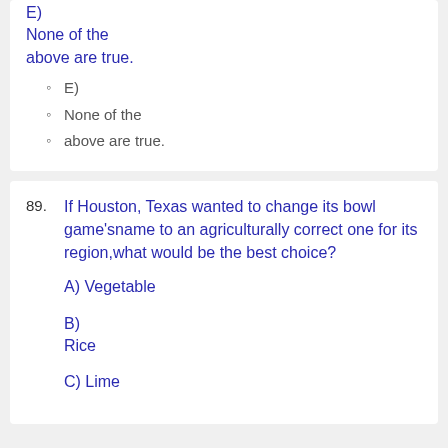E)
None of the above are true.
E)
None of the
above are true.
89. If Houston, Texas wanted to change its bowl game'sname to an agriculturally correct one for its region,what would be the best choice?
A) Vegetable
B)
Rice
C) Lime